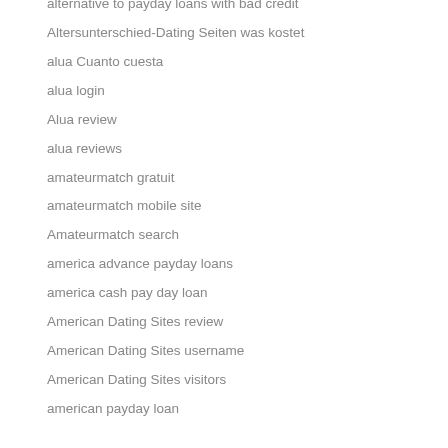alternative to payday loans with bad credit
Altersunterschied-Dating Seiten was kostet
alua Cuanto cuesta
alua login
Alua review
alua reviews
amateurmatch gratuit
amateurmatch mobile site
Amateurmatch search
america advance payday loans
america cash pay day loan
American Dating Sites review
American Dating Sites username
American Dating Sites visitors
american payday loan